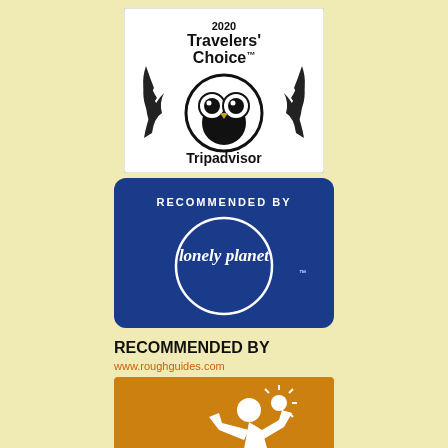[Figure (logo): TripAdvisor 2020 Travelers' Choice award badge with owl logo on white background]
[Figure (logo): Lonely Planet Recommended By badge with white text and circle logo on dark blue background]
[Figure (logo): Rough Guides Recommended By badge with running man figure on orange background, text reads RECOMMENDED BY www.roughguides.com and ROUGH GUIDES]